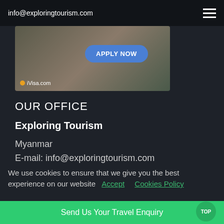info@exploringtourism.com
[Figure (screenshot): iVisa.com advertisement banner with APPLY NOW button]
OUR OFFICE
Exploring Tourism
Myanmar
E-mail: info@exploringtourism.com
NEWSLETTER SIGNUP
Your Name
We use cookies to ensure that we give you the best experience on our website  Accept  Cookies Policy
Send Us Your Travel Enquiry